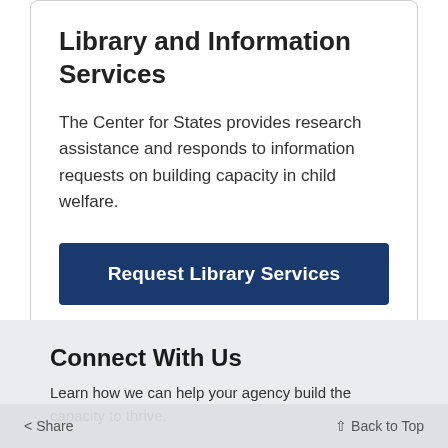Library and Information Services
The Center for States provides research assistance and responds to information requests on building capacity in child welfare.
Request Library Services
Connect With Us
Learn how we can help your agency build the capacity to thrive.
< Share   Back to Top